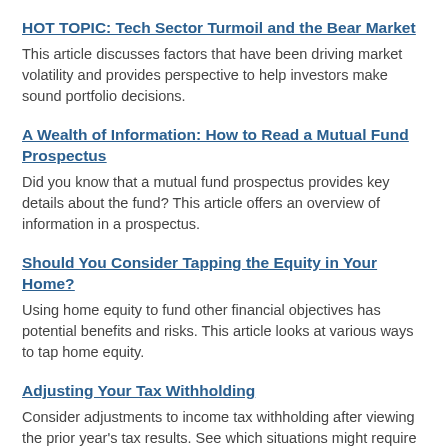HOT TOPIC: Tech Sector Turmoil and the Bear Market
This article discusses factors that have been driving market volatility and provides perspective to help investors make sound portfolio decisions.
A Wealth of Information: How to Read a Mutual Fund Prospectus
Did you know that a mutual fund prospectus provides key details about the fund? This article offers an overview of information in a prospectus.
Should You Consider Tapping the Equity in Your Home?
Using home equity to fund other financial objectives has potential benefits and risks. This article looks at various ways to tap home equity.
Adjusting Your Tax Withholding
Consider adjustments to income tax withholding after viewing the prior year's tax results. See which situations might require special attention.